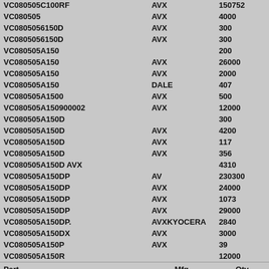| Part | Mfg | Qty |
| --- | --- | --- |
| VC080505C100RF | AVX | 150752 |
| VC080505 | AVX | 4000 |
| VC0805056150D | AVX | 300 |
| VC0805056150D | AVX | 300 |
| VC080505A150 |  | 200 |
| VC080505A150 | AVX | 26000 |
| VC080505A150 | AVX | 2000 |
| VC080505A150 | DALE | 407 |
| VC080505A1500 | AVX | 500 |
| VC080505A150900002 | AVX | 12000 |
| VC080505A150D |  | 300 |
| VC080505A150D | AVX | 4200 |
| VC080505A150D | AVX | 117 |
| VC080505A150D | AVX | 356 |
| VC080505A150D AVX |  | 4310 |
| VC080505A150DP | AV | 230300 |
| VC080505A150DP | AVX | 24000 |
| VC080505A150DP | AVX | 1073 |
| VC080505A150DP | AVX | 29000 |
| VC080505A150DP. | AVXKYOCERA | 2840 |
| VC080505A150DX | AVX | 3000 |
| VC080505A150P | AVX | 39 |
| VC080505A150R |  | 12000 |
| Part | Mfg | Qty |
| VC080505A150R | NA | 5000 |
| VC080505A150R | AVX | 3000 |